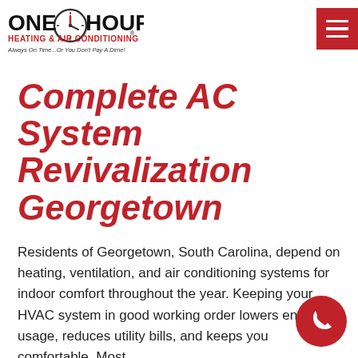[Figure (logo): One Hour Heating & Air Conditioning logo with clock graphic. Tagline: Always On Time...Or You Don't Pay A Dime!]
Complete AC System Revivalization Georgetown
Residents of Georgetown, South Carolina, depend on heating, ventilation, and air conditioning systems for indoor comfort throughout the year. Keeping your HVAC system in good working order lowers energy usage, reduces utility bills, and keeps you comfortable. Most